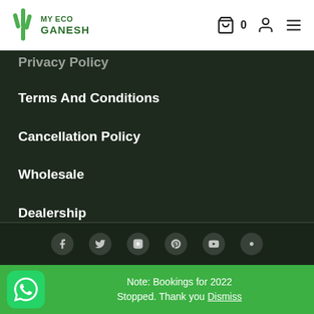MY ECO GANESH — header with cart, user, and menu icons
Privacy Policy
Terms And Conditions
Cancellation Policy
Wholesale
Dealership
Associate
Affiliate
Note: Bookings for 2022 Stopped. Thank you Dismiss